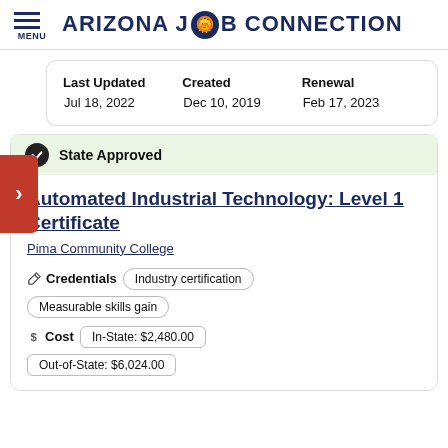ARIZONA JOB CONNECTION
| Last Updated | Created | Renewal |
| --- | --- | --- |
| Jul 18, 2022 | Dec 10, 2019 | Feb 17, 2023 |
State Approved
Automated Industrial Technology: Level 1 Certificate
Pima Community College
Credentials  Industry certification  Measurable skills gain
Cost  In-State: $2,480.00  Out-of-State: $6,024.00